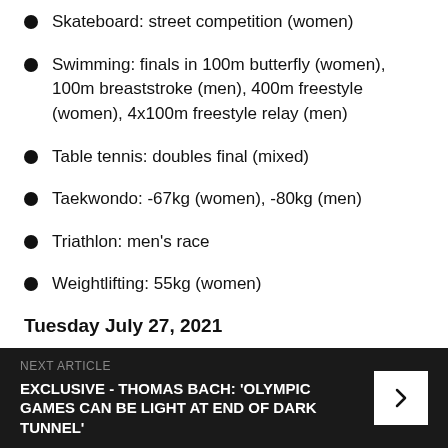Skateboard: street competition (women)
Swimming: finals in 100m butterfly (women), 100m breaststroke (men), 400m freestyle (women), 4x100m freestyle relay (men)
Table tennis: doubles final (mixed)
Taekwondo: -67kg (women), -80kg (men)
Triathlon: men's race
Weightlifting: 55kg (women)
Tuesday July 27, 2021
Artistic gymnastics team final (women)
NEXT ARTICLE
EXCLUSIVE - THOMAS BACH: 'OLYMPIC GAMES CAN BE LIGHT AT END OF DARK TUNNEL'